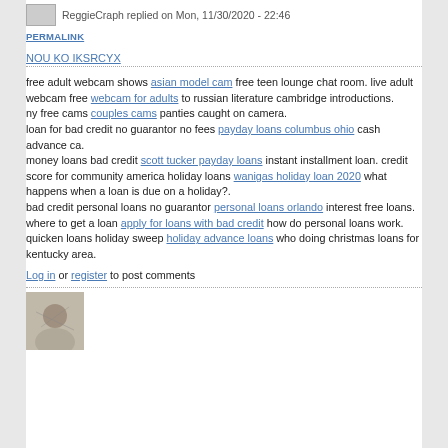ReggieCraph replied on Mon, 11/30/2020 - 22:46
PERMALINK
NOU KO IKSRCYX
free adult webcam shows asian model cam free teen lounge chat room. live adult webcam free webcam for adults to russian literature cambridge introductions.
ny free cams couples cams panties caught on camera.
loan for bad credit no guarantor no fees payday loans columbus ohio cash advance ca.
money loans bad credit scott tucker payday loans instant installment loan. credit score for community america holiday loans wanigas holiday loan 2020 what happens when a loan is due on a holiday?.
bad credit personal loans no guarantor personal loans orlando interest free loans.
where to get a loan apply for loans with bad credit how do personal loans work.
quicken loans holiday sweep holiday advance loans who doing christmas loans for kentucky area.
Log in or register to post comments
[Figure (photo): Small avatar image at bottom left]